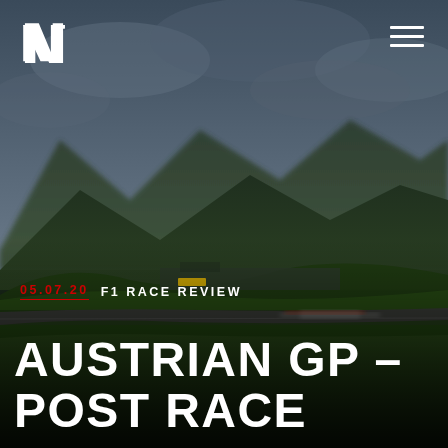[Figure (photo): Aerial/ground-level photograph of a Formula 1 racing circuit with a blurred racing car on track, green grass, pit lane buildings, and dramatic blue-grey mountain landscape in the background under overcast sky. The Red Bull Ring circuit in Austria.]
NL [logo] ☰ [hamburger menu]
05.07.20  F1 RACE REVIEW
AUSTRIAN GP – POST RACE